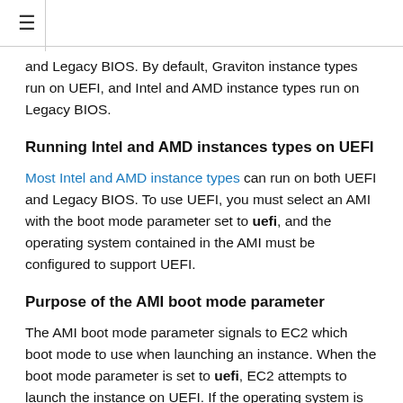≡
and Legacy BIOS. By default, Graviton instance types run on UEFI, and Intel and AMD instance types run on Legacy BIOS.
Running Intel and AMD instances types on UEFI
Most Intel and AMD instance types can run on both UEFI and Legacy BIOS. To use UEFI, you must select an AMI with the boot mode parameter set to uefi, and the operating system contained in the AMI must be configured to support UEFI.
Purpose of the AMI boot mode parameter
The AMI boot mode parameter signals to EC2 which boot mode to use when launching an instance. When the boot mode parameter is set to uefi, EC2 attempts to launch the instance on UEFI. If the operating system is not